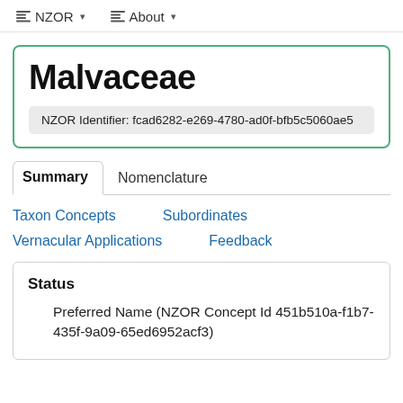NZOR   About
Malvaceae
NZOR Identifier: fcad6282-e269-4780-ad0f-bfb5c5060ae5
Summary   Nomenclature
Taxon Concepts   Subordinates
Vernacular Applications   Feedback
Status
Preferred Name (NZOR Concept Id 451b510a-f1b7-435f-9a09-65ed6952acf3)